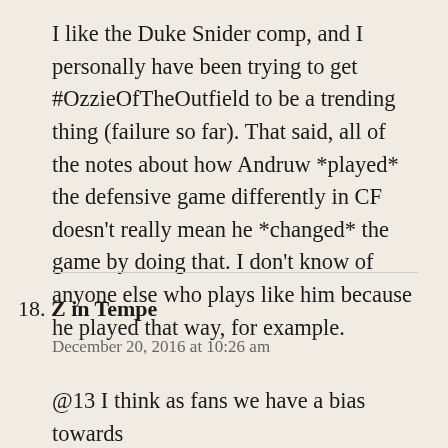I like the Duke Snider comp, and I personally have been trying to get #OzzieOfTheOutfield to be a trending thing (failure so far). That said, all of the notes about how Andruw *played* the defensive game differently in CF doesn't really mean he *changed* the game by doing that. I don't know of anyone else who plays like him because he played that way, for example.
18. Z in Tempe
December 20, 2016 at 10:26 am
@13 I think as fans we have a bias towards